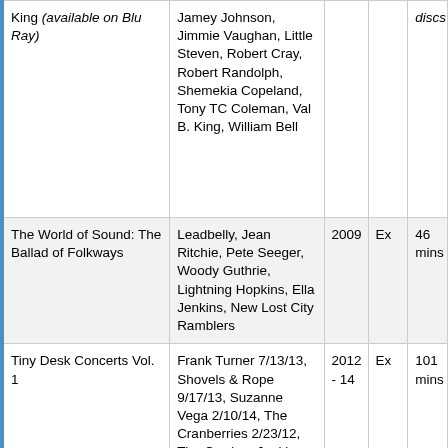| Title | Artists/Performers | Year | Rating | Length |
| --- | --- | --- | --- | --- |
| King (available on Blu Ray) | Jamey Johnson, Jimmie Vaughan, Little Steven, Robert Cray, Robert Randolph, Shemekia Copeland, Tony TC Coleman, Val B. King, William Bell |  |  | discs |
| The World of Sound: The Ballad of Folkways | Leadbelly, Jean Ritchie, Pete Seeger, Woody Guthrie, Lightning Hopkins, Ella Jenkins, New Lost City Ramblers | 2009 | Ex | 46 mins |
| Tiny Desk Concerts Vol. 1 | Frank Turner 7/13/13, Shovels & Rope 9/17/13, Suzanne Vega 2/10/14, The Cranberries 2/23/12, The Cowboy Junkies 2012, Kathleen Edwards 2012, Jakob Dylan 2012, Richard... | 2012 - 14 | Ex | 101 mins |